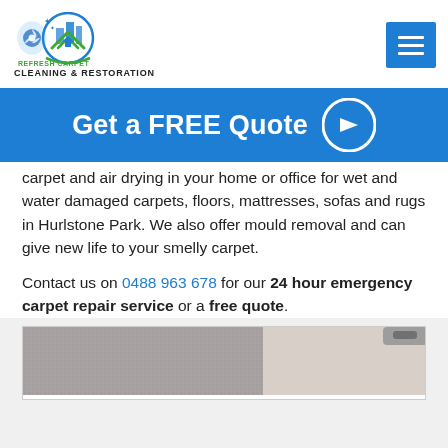[Figure (logo): Refresh Carpet Cleaning & Restoration logo with carpet cleaning machine and building icons]
REFRESH CARPET CLEANING & RESTORATION
[Figure (infographic): Get a FREE Quote button with right arrow icon on blue background]
carpet and air drying in your home or office for wet and water damaged carpets, floors, mattresses, sofas and rugs in Hurlstone Park. We also offer mould removal and can give new life to your smelly carpet.
Contact us on 0488 963 678 for our 24 hour emergency carpet repair service or a free quote.
[Figure (photo): Close-up photograph of carpet texture, showing before and after comparison of carpet cleaning]